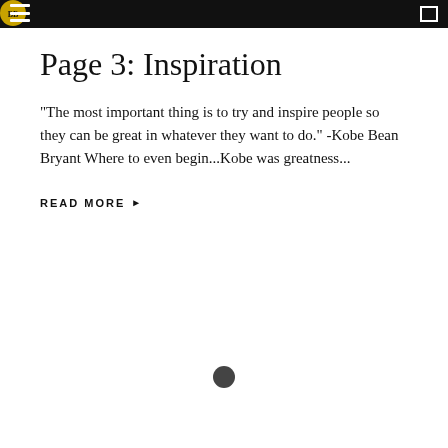Page 3: Inspiration
"The most important thing is to try and inspire people so they can be great in whatever they want to do." -Kobe Bean Bryant Where to even begin...Kobe was greatness...
READ MORE ▶